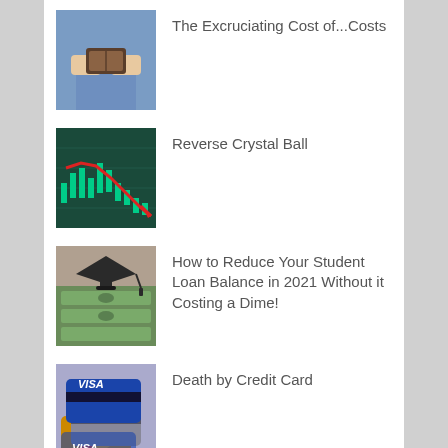[Figure (photo): Person holding open empty wallet]
The Excruciating Cost of...Costs
[Figure (photo): Stock market chart with red downward arrow on teal background]
Reverse Crystal Ball
[Figure (photo): Graduation cap on top of US dollar bills]
How to Reduce Your Student Loan Balance in 2021 Without it Costing a Dime!
[Figure (photo): Stack of Visa and other credit cards]
Death by Credit Card
Topics of Interest
Personal Finance